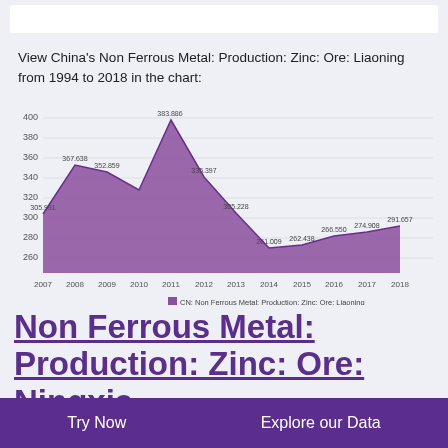View China's Non Ferrous Metal: Production: Zinc: Ore: Liaoning from 1994 to 2018 in the chart:
[Figure (area-chart): CN: Non Ferrous Metal: Production: Zinc: Ore: Liaoning]
Non Ferrous Metal: Production: Zinc: Ore: Ningxia
Try Now    Explore our Data